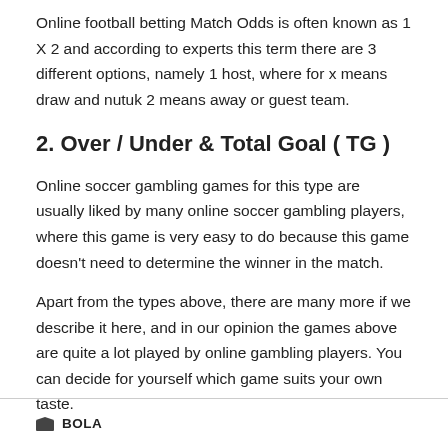Online football betting Match Odds is often known as 1 X 2 and according to experts this term there are 3 different options, namely 1 host, where for x means draw and nutuk 2 means away or guest team.
2. Over / Under & Total Goal ( TG )
Online soccer gambling games for this type are usually liked by many online soccer gambling players, where this game is very easy to do because this game doesn't need to determine the winner in the match.
Apart from the types above, there are many more if we describe it here, and in our opinion the games above are quite a lot played by online gambling players. You can decide for yourself which game suits your own taste.
BOLA